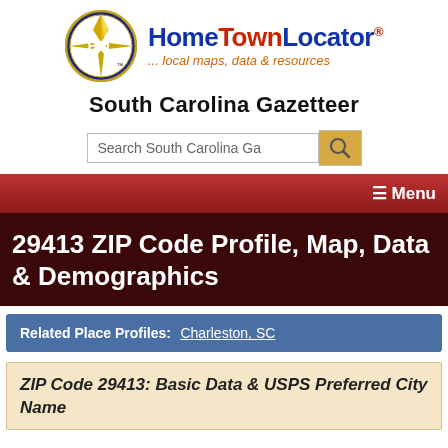[Figure (logo): HomeTownLocator logo with HTL compass circle emblem and red/orange text]
South Carolina Gazetteer
Search South Carolina Ga [search button]
☰ Menu
29413 ZIP Code Profile, Map, Data & Demographics
Related Place Profiles: Charleston, SC
ZIP Code 29413: Basic Data & USPS Preferred City Name